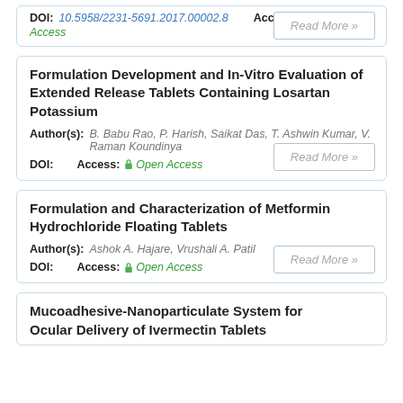DOI: 10.5958/2231-5691.2017.00002.8  Access: Open Access Read More »
Formulation Development and In-Vitro Evaluation of Extended Release Tablets Containing Losartan Potassium
Author(s): B. Babu Rao, P. Harish, Saikat Das, T. Ashwin Kumar, V. Raman Koundinya
DOI:  Access: Open Access  Read More »
Formulation and Characterization of Metformin Hydrochloride Floating Tablets
Author(s): Ashok A. Hajare, Vrushali A. Patil
DOI:  Access: Open Access  Read More »
Mucoadhesive-Nanoparticulate System for Ocular Delivery of Ivermectin Tablets